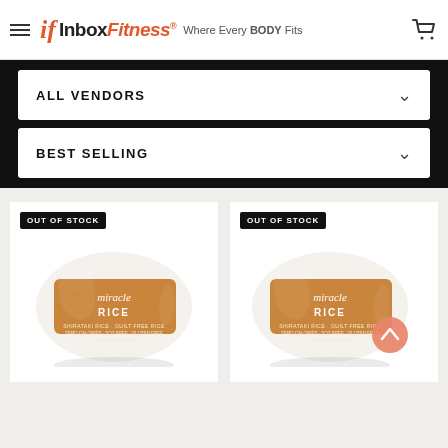InboxFitness® Where Every BODY Fits
ALL VENDORS
BEST SELLING
[Figure (screenshot): Product card showing Miracle Rice package with OUT OF STOCK badge, left]
[Figure (screenshot): Product card showing Miracle Rice package with OUT OF STOCK badge, right]